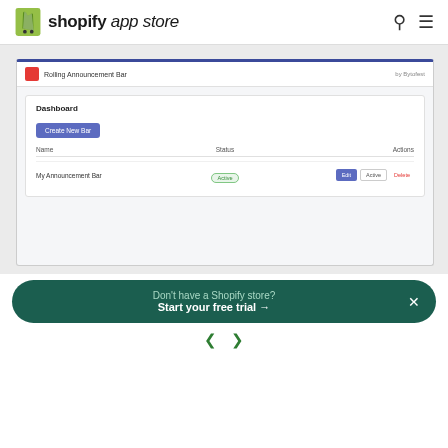shopify app store
[Figure (screenshot): Screenshot of Rolling Announcement Bar app dashboard showing a table with 'My Announcement Bar' entry with Active status and Edit/Active/Delete action buttons]
Don't have a Shopify store? Start your free trial →